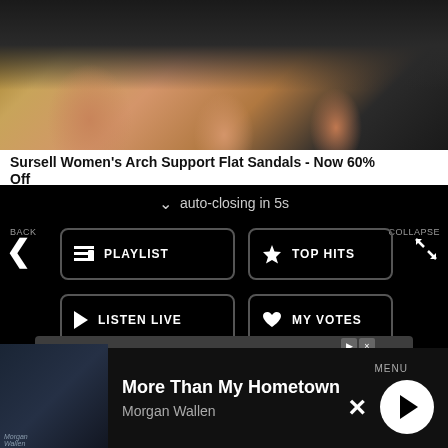[Figure (photo): Advertisement photo showing feet wearing black flip-flop sandals with white toenail polish]
Sursell Women's Arch Support Flat Sandals - Now 60% Off
auto-closing in 5s
BACK
PLAYLIST
TOP HITS
LISTEN LIVE
MY VOTES
CONTROLS
COLLAPSE
Data opt-out
[Figure (logo): Veris logo with text 'Premier sustainable rentals.' and LEARN MORE button]
More Than My Hometown
Morgan Wallen
MENU